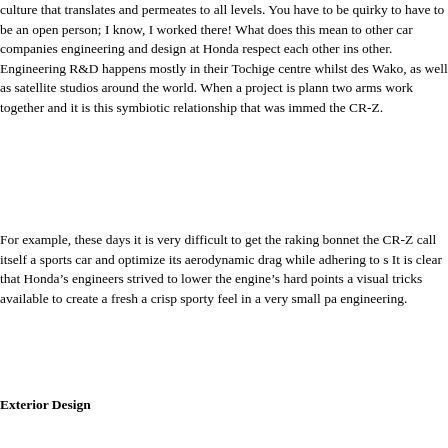culture that translates and permeates to all levels. You have to be quirky to have to be an open person; I know, I worked there! What does this mean to other car companies engineering and design at Honda respect each other ins other. Engineering R&D happens mostly in their Tochige centre whilst des Wako, as well as satellite studios around the world. When a project is plann two arms work together and it is this symbiotic relationship that was immed the CR-Z.
For example, these days it is very difficult to get the raking bonnet the CR-Z call itself a sports car and optimize its aerodynamic drag while adhering to s It is clear that Honda's engineers strived to lower the engine's hard points a visual tricks available to create a fresh a crisp sporty feel in a very small pa engineering.
Exterior Design